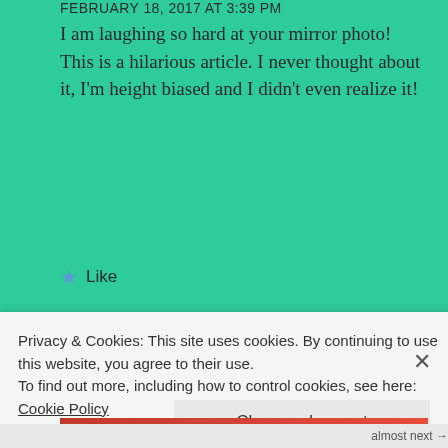FEBRUARY 18, 2017 AT 3:39 PM
I am laughing so hard at your mirror photo! This is a hilarious article. I never thought about it, I'm height biased and I didn't even realize it!
★ Like
REPLY
maschany
Privacy & Cookies: This site uses cookies. By continuing to use this website, you agree to their use.
To find out more, including how to control cookies, see here: Cookie Policy
Close and accept